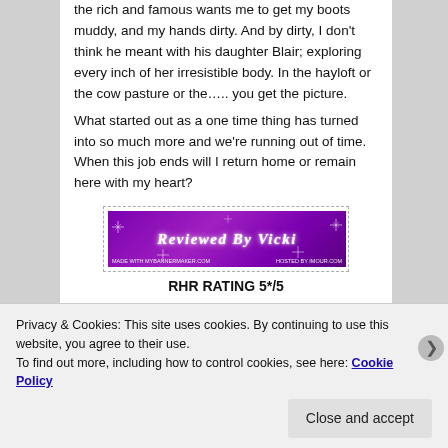the rich and famous wants me to get my boots muddy, and my hands dirty. And by dirty, I don't think he meant with his daughter Blair; exploring every inch of her irresistible body. In the hayloft or the cow pasture or the….. you get the picture.
What started out as a one time thing has turned into so much more and we're running out of time. When this job ends will I return home or remain here with my heart?
[Figure (illustration): Purple banner with sparkle star effects reading 'Reviewed By Vicki' with small text 'MADE WITH MYBANNERMAKER.COM' and 'HOSTED BY IMOUR.COM']
RHR RATING 5*/5
Privacy & Cookies: This site uses cookies. By continuing to use this website, you agree to their use.
To find out more, including how to control cookies, see here: Cookie Policy